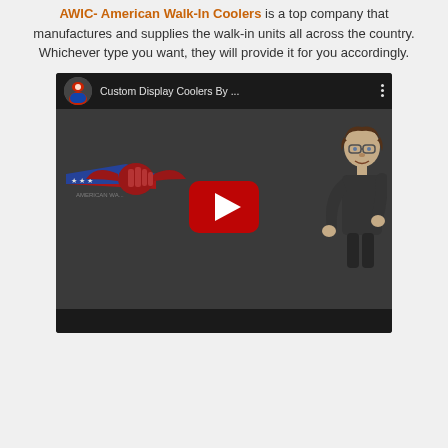AWIC- American Walk-In Coolers is a top company that manufactures and supplies the walk-in units all across the country. Whichever type you want, they will provide it for you accordingly.
[Figure (screenshot): YouTube video embed showing 'Custom Display Coolers By ...' with a channel avatar, video title, three-dot menu, AWIC American Walk-In Coolers logo, YouTube play button, and a cartoon character illustration on a dark background.]